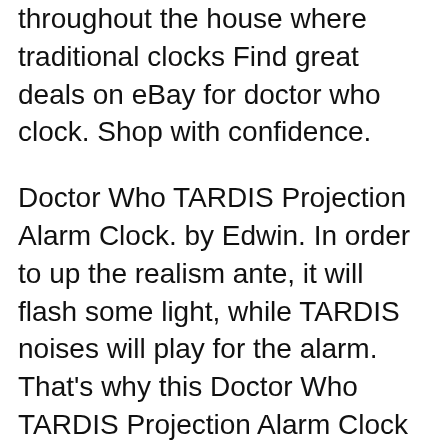throughout the house where traditional clocks Find great deals on eBay for doctor who clock. Shop with confidence.
Doctor Who TARDIS Projection Alarm Clock. by Edwin. In order to up the realism ante, it will flash some light, while TARDIS noises will play for the alarm. That's why this Doctor Who TARDIS Projection Alarm Clock is perfect. Sierra, it makes the traditional sound that the TARDIS makes when it appears and disappears.
Find great deals on eBay for doctor who clock. Shop with confidence. Comparaboo top Projection Clocks To add the 10 Best Projection Clocks list